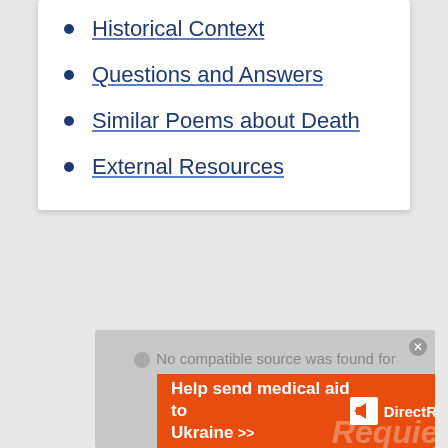Historical Context
Questions and Answers
Similar Poems about Death
External Resources
[Figure (screenshot): Video player showing error message: No compatible source was found for this media.]
[Figure (infographic): Orange banner advertisement: Help send medical aid to Ukraine >> with Direct Relief logo and Requiem text]